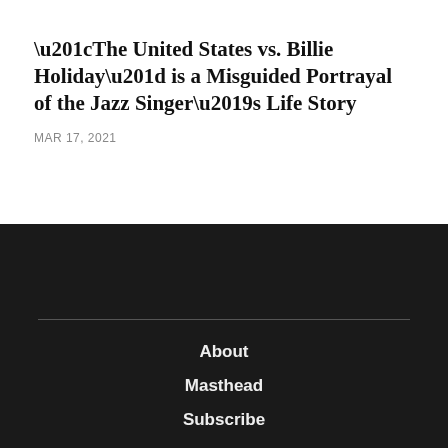“The United States vs. Billie Holiday” is a Misguided Portrayal of the Jazz Singer’s Life Story
MAR 17, 2021
About
Masthead
Subscribe